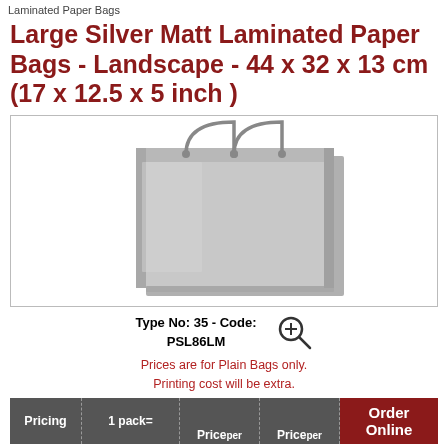Laminated Paper Bags
Large Silver Matt Laminated Paper Bags - Landscape - 44 x 32 x 13 cm (17 x 12.5 x 5 inch )
[Figure (photo): Silver matt laminated paper bag in landscape orientation with grey rope handles, shown against white background inside a bordered box]
Type No: 35 - Code: PSL86LM
Prices are for Plain Bags only. Printing cost will be extra.
| Pricing | 1 pack= | Price per | Price per | Order Online |
| --- | --- | --- | --- | --- |